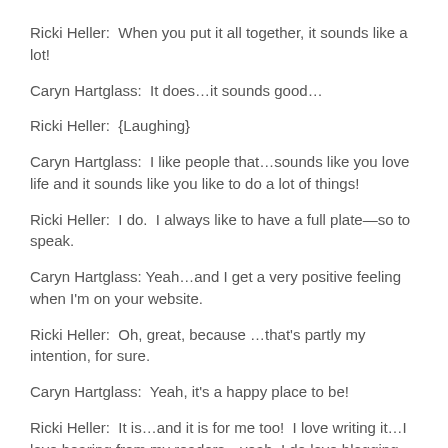Ricki Heller:  When you put it all together, it sounds like a lot!
Caryn Hartglass:  It does…it sounds good…
Ricki Heller:  {Laughing}
Caryn Hartglass:  I like people that…sounds like you love life and it sounds like you like to do a lot of things!
Ricki Heller:  I do.  I always like to have a full plate—so to speak.
Caryn Hartglass: Yeah…and I get a very positive feeling when I'm on your website.
Ricki Heller:  Oh, great, because …that's partly my intention, for sure.
Caryn Hartglass:  Yeah, it's a happy place to be!
Ricki Heller:  It is…and it is for me too!  I love writing it…I love hearing from my readers…yeah, I do love blogging.